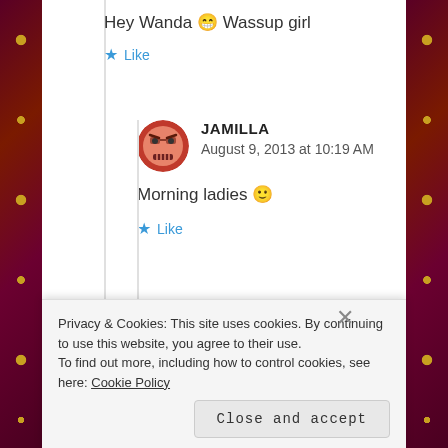Hey Wanda 😁 Wassup girl
★ Like
[Figure (illustration): Circular avatar of commenter Jamilla showing an animated angry/stern face emoji on a red-pink background]
JAMILLA
August 9, 2013 at 10:19 AM
Morning ladies 🙂
★ Like
Privacy & Cookies: This site uses cookies. By continuing to use this website, you agree to their use.
To find out more, including how to control cookies, see here: Cookie Policy
Close and accept